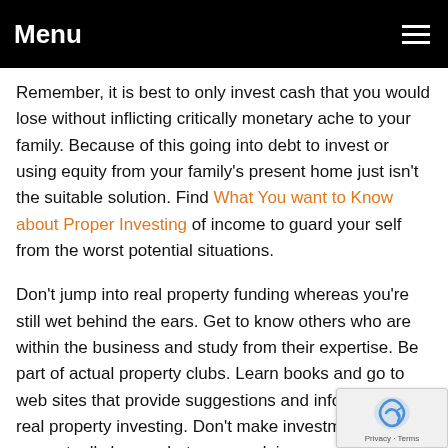Menu
Remember, it is best to only invest cash that you would lose without inflicting critically monetary ache to your family. Because of this going into debt to invest or using equity from your family's present home just isn't the suitable solution. Find What You want to Know about Proper Investing of income to guard your self from the worst potential situations.
Don't jump into real property funding whereas you're still wet behind the ears. Get to know others who are within the business and study from their expertise. Be part of actual property clubs. Learn books and go to web sites that provide suggestions and information on real property investing. Don't make investments until you actually know what you are doing.